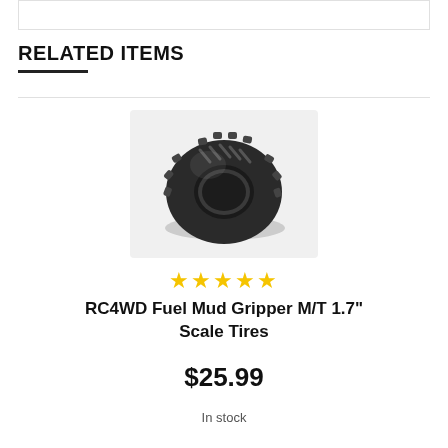RELATED ITEMS
[Figure (photo): RC4WD Fuel Mud Gripper tire product photo showing a single black knobby RC scale tire on a white background]
★★★★★
RC4WD Fuel Mud Gripper M/T 1.7" Scale Tires
$25.99
In stock